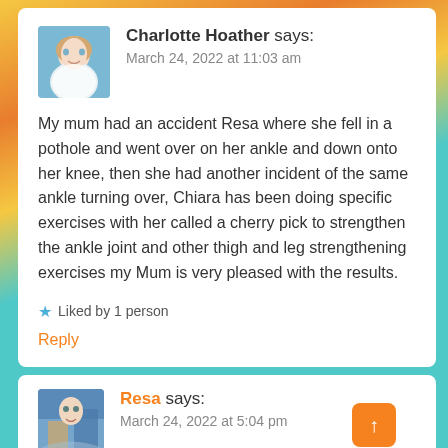Charlotte Hoather says: March 24, 2022 at 11:03 am
My mum had an accident Resa where she fell in a pothole and went over on her ankle and down onto her knee, then she had another incident of the same ankle turning over, Chiara has been doing specific exercises with her called a cherry pick to strengthen the ankle joint and other thigh and leg strengthening exercises my Mum is very pleased with the results.
★ Liked by 1 person
Reply
Resa says: March 24, 2022 at 5:04 pm